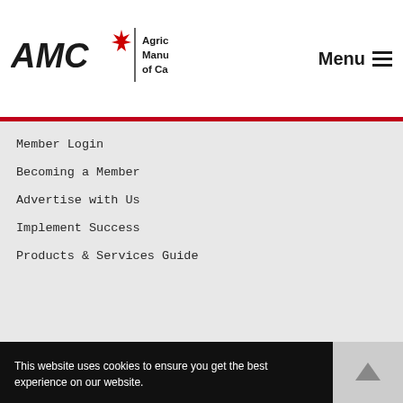[Figure (logo): AMC Agricultural Manufacturers of Canada logo with red maple leaf and organization name]
Member Login
Becoming a Member
Advertise with Us
Implement Success
Products & Services Guide
This website uses cookies to ensure you get the best experience on our website.
Learn more
Got it!